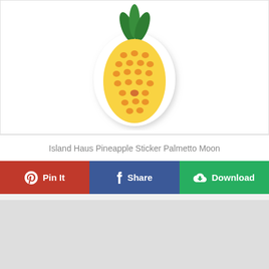[Figure (illustration): A pineapple sticker illustration on a white rounded sticker shape with a drop shadow, featuring a yellow pineapple with green leaves on top and orange spots/eyes pattern on the body.]
Island Haus Pineapple Sticker Palmetto Moon
[Figure (infographic): A row of three social sharing/action buttons: 'Pin It' in red with Pinterest icon, 'Share' in blue with Facebook icon, 'Download' in green with download/cloud icon.]
[Figure (other): Gray advertisement or content placeholder block.]